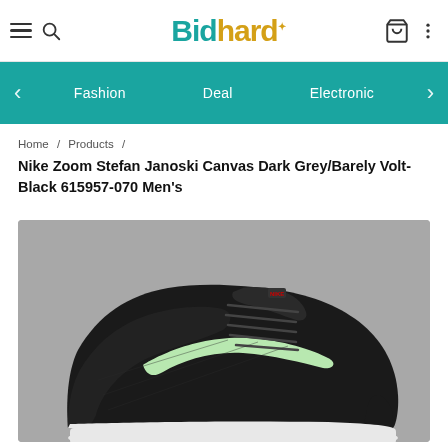Bidhardi - Navigation header with hamburger menu, search icon, cart, and more options
Fashion   Deal   Electronic
Home / Products /
Nike Zoom Stefan Janoski Canvas Dark Grey/Barely Volt-Black 615957-070 Men's
[Figure (photo): Nike Zoom Stefan Janoski Canvas shoe in dark grey/black colorway with barely volt (light green) swoosh, low-top canvas skate shoe shown from a 3/4 angle on a grey background]